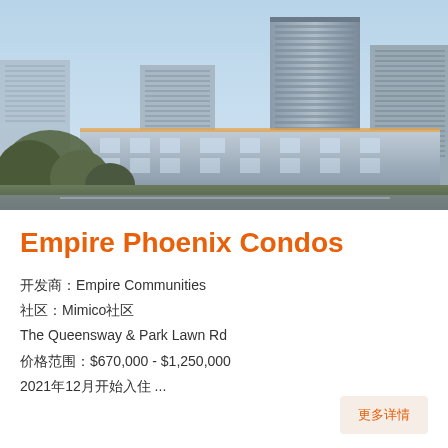[Figure (photo): Aerial/eye-level rendering of Empire Phoenix Condos, showing modern high-rise residential towers with glass facades against a light blue sky, with lower retail/podium buildings in the foreground and trees.]
Empire Phoenix Condos
开发商：Empire Communities
社区：Mimico社区
The Queensway & Park Lawn Rd
价格范围：$670,000 - $1,250,000
2021年12月开始入住 ...
更多详情